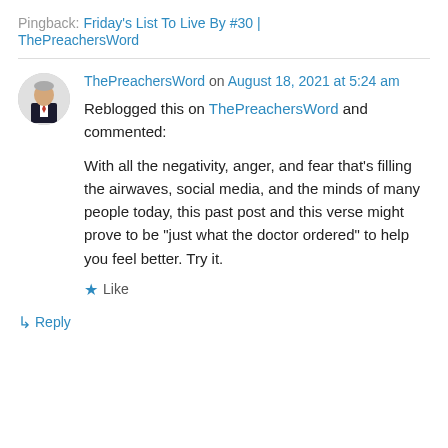Pingback: Friday's List To Live By #30 | ThePreachersWord
ThePreachersWord on August 18, 2021 at 5:24 am
Reblogged this on ThePreachersWord and commented:
With all the negativity, anger, and fear that’s filling the airwaves, social media, and the minds of many people today, this past post and this verse might prove to be “just what the doctor ordered” to help you feel better. Try it.
★ Like
↳ Reply